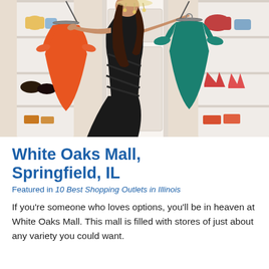[Figure (photo): A woman in a black dress holding two dress hangers in a boutique closet — an orange dress on her left and a teal dress on her right. White shelving with shoes and bags visible in the background.]
White Oaks Mall, Springfield, IL
Featured in 10 Best Shopping Outlets in Illinois
If you're someone who loves options, you'll be in heaven at White Oaks Mall. This mall is filled with stores of just about any variety you could want.